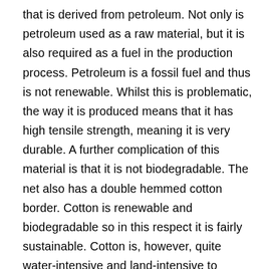that is derived from petroleum. Not only is petroleum used as a raw material, but it is also required as a fuel in the production process. Petroleum is a fossil fuel and thus is not renewable. Whilst this is problematic, the way it is produced means that it has high tensile strength, meaning it is very durable. A further complication of this material is that it is not biodegradable. The net also has a double hemmed cotton border. Cotton is renewable and biodegradable so in this respect it is fairly sustainable. Cotton is, however, quite water-intensive and land-intensive to produce. Furthermore, whilst many of the ‘100% cotton nets’ are made from organic cotton, there is no